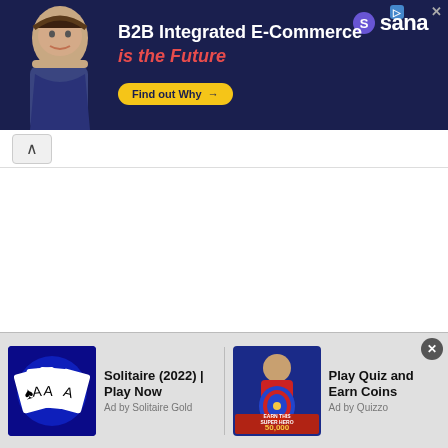[Figure (screenshot): Top advertisement banner for Sana B2B Integrated E-Commerce with dark navy background, person photo on left, headline text, and Find out Why button]
ugh laptops have built in cameras installed in the latest models, they are not as good as a webcam. Make sure you get your hands on a quality camera because clear communication requires the other person to see your facial expressions and your body language as clearly as possible.
Plus, seeing your gestures with clarity, and your body language is going to help you establish a long-term relationship. Clear communication helps the other person to understand you and guess what you might be feeling.
[Figure (screenshot): Bottom ad bar with two advertisements: Solitaire (2022) Play Now by Solitaire Gold, and Play Quiz and Earn Coins by Quizzo]